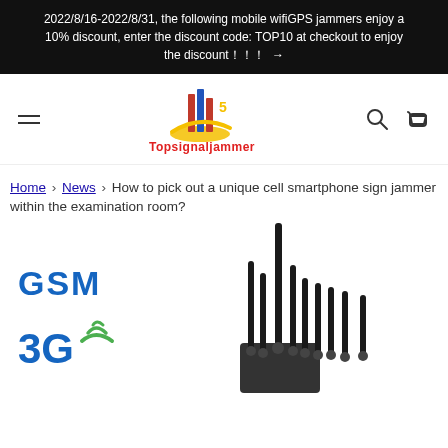2022/8/16-2022/8/31, the following mobile wifiGPS jammers enjoy a 10% discount, enter the discount code: TOP10 at checkout to enjoy the discount!!! →
[Figure (logo): Topsignaljammer logo with stylized building icon and red/blue/yellow colors, with text 'Topsignaljammer' in red below]
Home › News › How to pick out a unique cell smartphone sign jammer within the examination room?
[Figure (photo): Signal jammer device with multiple black antennas, with GSM and 3G labels on the left side of the image]